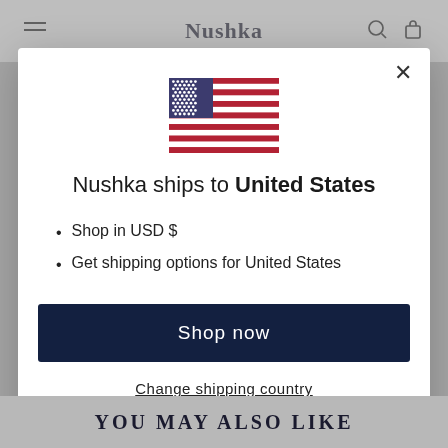Nushka
[Figure (illustration): US flag SVG illustration centered in modal]
Nushka ships to United States
Shop in USD $
Get shipping options for United States
Shop now
Change shipping country
YOU MAY ALSO LIKE